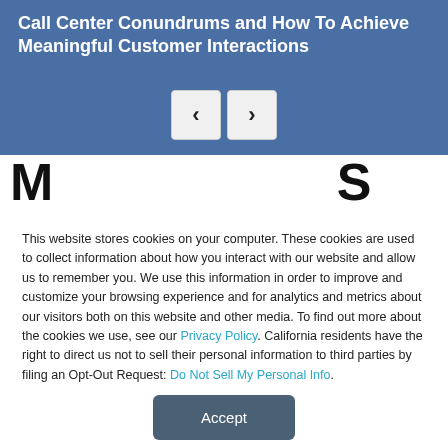Call Center Conundrums and How To Achieve Meaningful Customer Interactions
[Figure (screenshot): Navigation prev/next arrow buttons (< and >) in light gray rounded boxes on the blue header banner]
[Figure (screenshot): Partially visible large bold characters behind the cookie consent modal]
This website stores cookies on your computer. These cookies are used to collect information about how you interact with our website and allow us to remember you. We use this information in order to improve and customize your browsing experience and for analytics and metrics about our visitors both on this website and other media. To find out more about the cookies we use, see our Privacy Policy. California residents have the right to direct us not to sell their personal information to third parties by filing an Opt-Out Request: Do Not Sell My Personal Info.
Accept